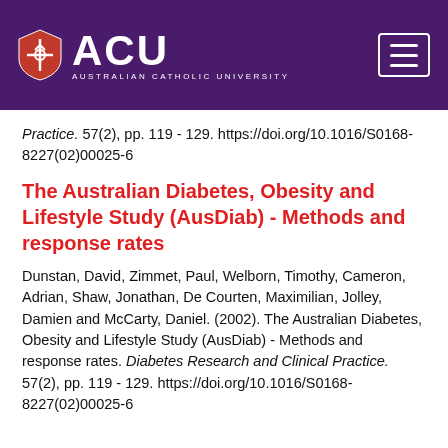ACU - Australian Catholic University
Practice. 57(2), pp. 119 - 129. https://doi.org/10.1016/S0168-8227(02)00025-6
The Australian Diabetes, Obesity and Lifestyle Study (AusDiab) - Methods and response rates
Dunstan, David, Zimmet, Paul, Welborn, Timothy, Cameron, Adrian, Shaw, Jonathan, De Courten, Maximilian, Jolley, Damien and McCarty, Daniel. (2002). The Australian Diabetes, Obesity and Lifestyle Study (AusDiab) - Methods and response rates. Diabetes Research and Clinical Practice. 57(2), pp. 119 - 129. https://doi.org/10.1016/S0168-8227(02)00025-6